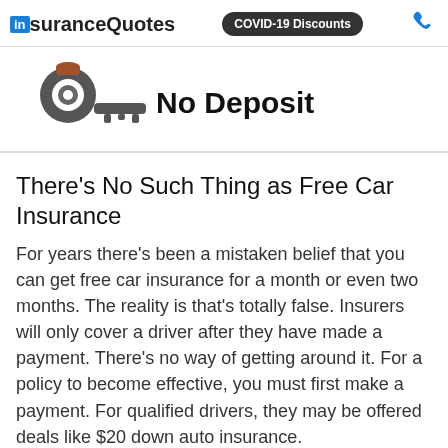insuranceQuotes  COVID-19 Discounts
[Figure (illustration): A dark key icon alongside bold text reading 'No Deposit']
There’s No Such Thing as Free Car Insurance
For years there’s been a mistaken belief that you can get free car insurance for a month or even two months. The reality is that’s totally false. Insurers will only cover a driver after they have made a payment. There’s no way of getting around it. For a policy to become effective, you must first make a payment. For qualified drivers, they may be offered deals like $20 down auto insurance.